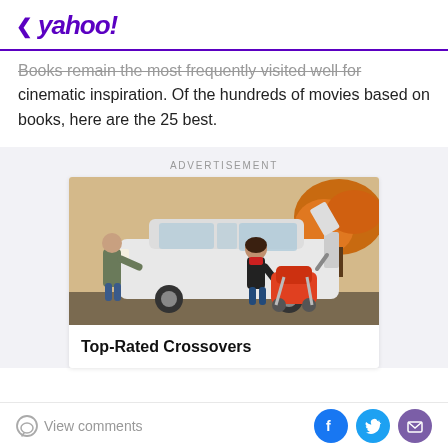< yahoo!
Books remain the most frequently visited well for cinematic inspiration. Of the hundreds of movies based on books, here are the 25 best.
ADVERTISEMENT
[Figure (photo): A man and woman loading a baby stroller into the trunk of a white SUV crossover in autumn setting. Advertisement for Top-Rated Crossovers.]
Top-Rated Crossovers
View comments